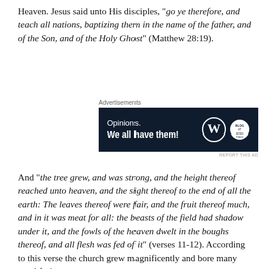Heaven. Jesus said unto His disciples, "go ye therefore, and teach all nations, baptizing them in the name of the father, and of the Son, and of the Holy Ghost" (Matthew 28:19).
[Figure (screenshot): WordPress advertisement banner with dark navy background showing 'Opinions. We all have them!' with WordPress logo and another small circular logo.]
And "the tree grew, and was strong, and the height thereof reached unto heaven, and the sight thereof to the end of all the earth: The leaves thereof were fair, and the fruit thereof much, and in it was meat for all: the beasts of the field had shadow under it, and the fowls of the heaven dwelt in the boughs thereof, and all flesh was fed of it" (verses 11-12). According to this verse the church grew magnificently and bore many good fruits